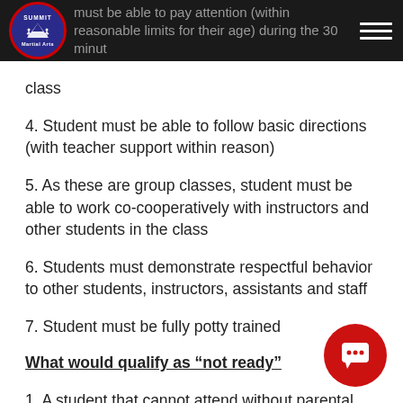Summit Martial Arts — navigation bar with logo
must be able to pay attention (within reasonable limits for their age) during the 30 minute class
4. Student must be able to follow basic directions (with teacher support within reason)
5. As these are group classes, student must be able to work co-cooperatively with instructors and other students in the class
6. Students must demonstrate respectful behavior to other students, instructors, assistants and staff
7. Student must be fully potty trained
What would qualify as “not ready”
1. A student that cannot attend without parental